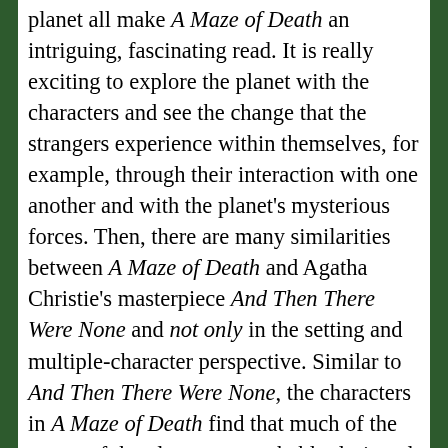planet all make A Maze of Death an intriguing, fascinating read. It is really exciting to explore the planet with the characters and see the change that the strangers experience within themselves, for example, through their interaction with one another and with the planet's mysterious forces. Then, there are many similarities between A Maze of Death and Agatha Christie's masterpiece And Then There Were None and not only in the setting and multiple-character perspective. Similar to And Then There Were None, the characters in A Maze of Death find that much of the set-up of the planet was probably designed specifically with them in mind or their past, and they find some forces working in a way which emphasise their own mental states and desires as though some higher power on the planet knows them intimately. Philip K. Dick also indirectly explores the free will vs. determinism issue, the possibility of one's true destiny existing and whether